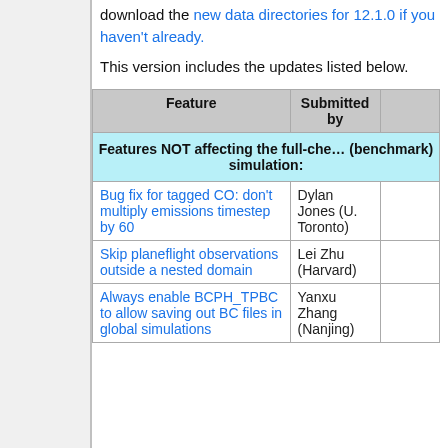download the new data directories for 12.1.0 if you haven't already.
This version includes the updates listed below.
| Feature | Submitted by |  |
| --- | --- | --- |
| Features NOT affecting the full-che… (benchmark) simulation: |  |  |
| Bug fix for tagged CO: don't multiply emissions timestep by 60 | Dylan Jones (U. Toronto) |  |
| Skip planeflight observations outside a nested domain | Lei Zhu (Harvard) |  |
| Always enable BCPH_TPBC to allow saving out BC files in global simulations | Yanxu Zhang (Nanjing) |  |